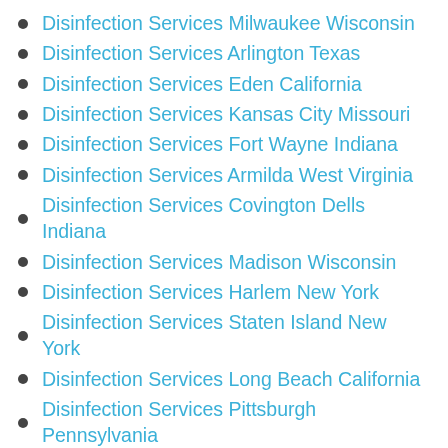Disinfection Services Milwaukee Wisconsin
Disinfection Services Arlington Texas
Disinfection Services Eden California
Disinfection Services Kansas City Missouri
Disinfection Services Fort Wayne Indiana
Disinfection Services Armilda West Virginia
Disinfection Services Covington Dells Indiana
Disinfection Services Madison Wisconsin
Disinfection Services Harlem New York
Disinfection Services Staten Island New York
Disinfection Services Long Beach California
Disinfection Services Pittsburgh Pennsylvania
Disinfection Services Arlington Texas
Disinfection Services Chula Vista California
Disinfection Services Bakersfield California
Disinfection Services Arlanza California
Disinfection Services Staten Island New York
Disinfection Services Alief Texas